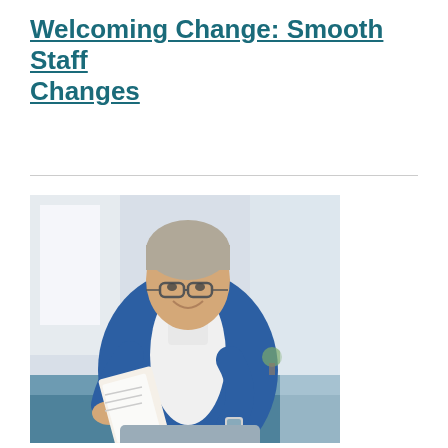Welcoming Change: Smooth Staff Changes
[Figure (photo): A middle-aged man with grey hair and glasses, wearing a blue cardigan over a white shirt, sitting and smiling while reading a document. Background is softly blurred interior setting.]